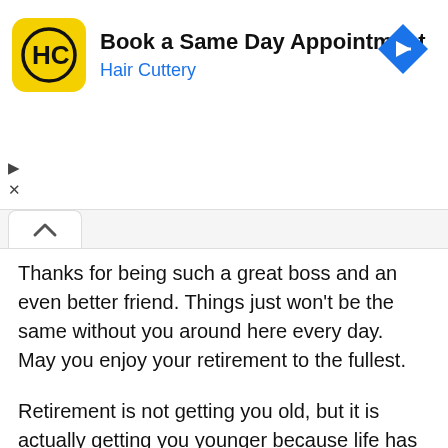[Figure (screenshot): Hair Cuttery ad banner with yellow logo showing 'HC', title 'Book a Same Day Appointment', subtitle 'Hair Cuttery' in blue, and a blue diamond-shaped navigation arrow on the right. Play and X controls on the left.]
Thanks for being such a great boss and an even better friend. Things just won't be the same without you around here every day. May you enjoy your retirement to the fullest.
Retirement is not getting you old, but it is actually getting you younger because life has still much to offer. May you spend your days of retirement to the fullest! Thank you, boss.